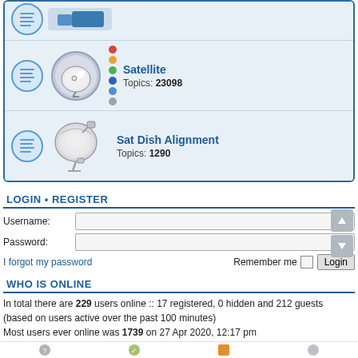[Figure (screenshot): Partial top forum row showing an icon and a blue device image (partially visible)]
Satellite — Topics: 23098
Sat Dish Alignment — Topics: 1290
LOGIN • REGISTER
Username:
Password:
I forgot my password    Remember me  Login
WHO IS ONLINE
In total there are 229 users online :: 17 registered, 0 hidden and 212 guests (based on users active over the past 100 minutes)
Most users ever online was 1739 on 27 Apr 2020, 12:17 pm